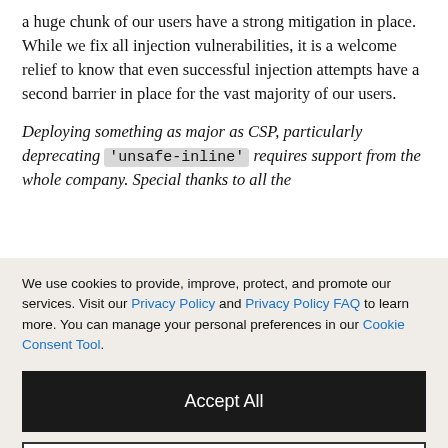a huge chunk of our users have a strong mitigation in place. While we fix all injection vulnerabilities, it is a welcome relief to know that even successful injection attempts have a second barrier in place for the vast majority of our users.
Deploying something as major as CSP, particularly deprecating 'unsafe-inline' requires support from the whole company. Special thanks to all the
We use cookies to provide, improve, protect, and promote our services. Visit our Privacy Policy and Privacy Policy FAQ to learn more. You can manage your personal preferences in our Cookie Consent Tool.
Accept All
Decline